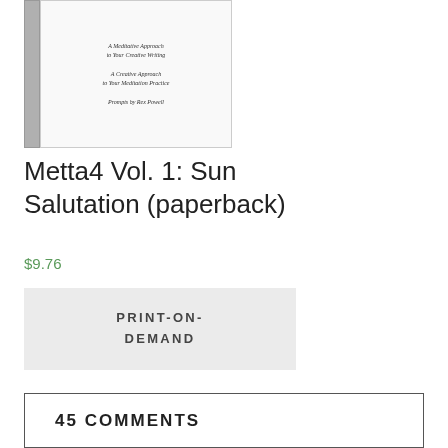[Figure (illustration): Book cover image for Metta4 Vol. 1: Sun Salutation, showing a small book cover with subtitle text 'A Meditative Approach to Your Creative Writing / A Creative Approach to Your Meditation Practice / Prompts by Rex Powell', with a grey spine on the left.]
Metta4 Vol. 1: Sun Salutation (paperback)
$9.76
PRINT-ON-DEMAND
45 COMMENTS